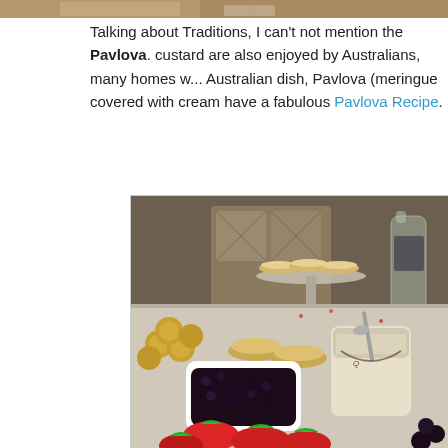[Figure (photo): Partial top edge of a food/dessert photo, cropped at top of page]
Talking about Traditions, I can't not mention the Pavlova. custard are also enjoyed by Australians, many homes w... Australian dish, Pavlova (meringue covered with cream have a fabulous Pavlova Recipe.
[Figure (photo): Photo of a dessert table spread with strawberries, a bowl of blueberries/jam, custard tarts on a cake stand, Ferrero Rocher chocolates, a tub of custard, and other treats.]